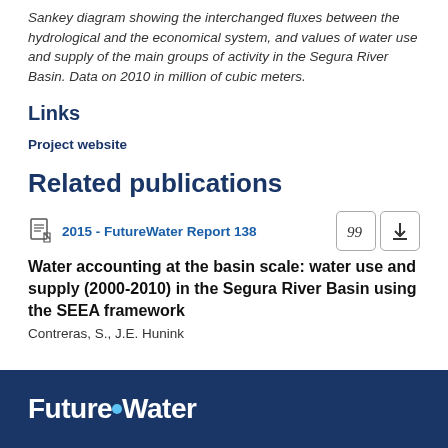Sankey diagram showing the interchanged fluxes between the hydrological and the economical system, and values of water use and supply of the main groups of activity in the Segura River Basin. Data on 2010 in million of cubic meters.
Links
Project website
Related publications
2015 - FutureWater Report 138
Water accounting at the basin scale: water use and supply (2000-2010) in the Segura River Basin using the SEEA framework
Contreras, S., J.E. Hunink
FutureWater